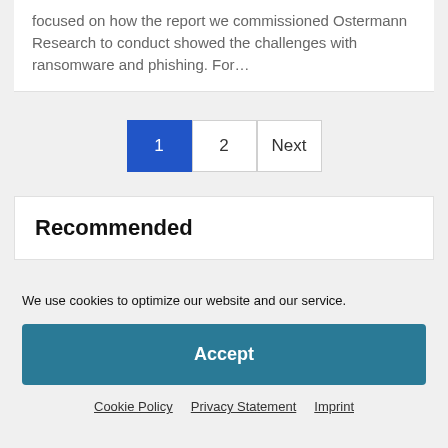focused on how the report we commissioned Ostermann Research to conduct showed the challenges with ransomware and phishing. For…
1  2  Next
Recommended
We use cookies to optimize our website and our service.
Accept
Cookie Policy  Privacy Statement  Imprint